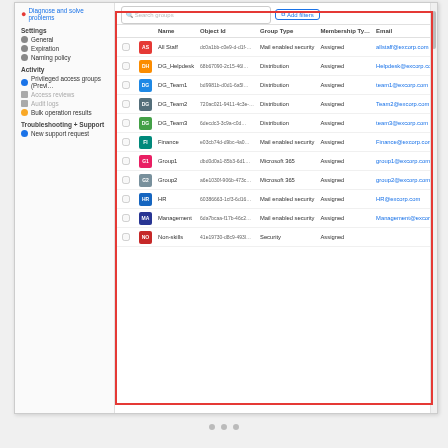[Figure (screenshot): Microsoft Entra / Azure AD admin center screenshot showing the Groups list panel with sidebar navigation (Settings, Activity, Troubleshooting sections) and a table of groups with columns: Name, Object Id, Group Type, Membership Type, Email, Source. Groups listed: All Staff, DG_Helpdesk, DG_Team1, DG_Team2, DG_Team3, Finance, Group1, Group2, HR, Management, Non-skills. A red border highlights the groups table. An 'Add filters' button appears in the toolbar.]